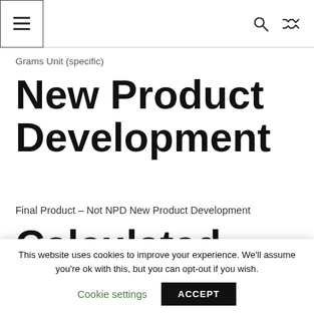≡  🔍  ⇄
Grams Unit (specific)
New Product Development
Final Product – Not NPD New Product Development
Calculated Nutrition Ordering
This website uses cookies to improve your experience. We'll assume you're ok with this, but you can opt-out if you wish.
Cookie settings   ACCEPT